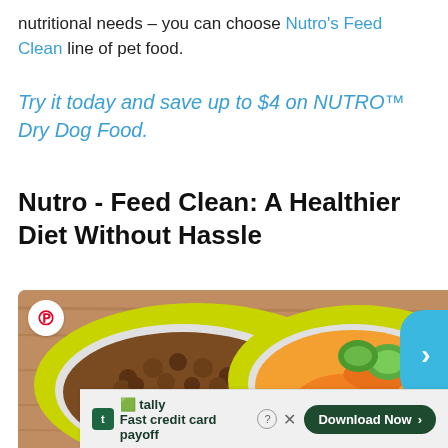nutritional needs – you can choose Nutro's Feed Clean line of pet food.
Try it today and save up to $4 on NUTRO™ Dry Dog Food.
Nutro - Feed Clean: A Healthier Diet Without Hassle
[Figure (photo): Two yellow pet food bowls on a wooden surface — one filled with dry dog food kibble, the other with fresh vegetables including carrots and zucchini. A Pinterest share button appears in the top-left corner of the image.]
Fast credit card payoff — Tally app advertisement with Download Now button